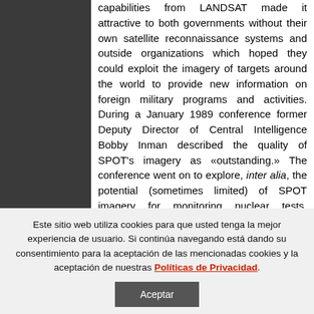capabilities from LANDSAT made it attractive to both governments without their own satellite reconnaissance systems and outside organizations which hoped they could exploit the imagery of targets around the world to provide new information on foreign military programs and activities. During a January 1989 conference former Deputy Director of Central Intelligence Bobby Inman described the quality of SPOT's imagery as «outstanding.» The conference went on to explore, inter alia, the potential (sometimes limited) of SPOT imagery for monitoring nuclear tests, proliferation, and arms control compliance. By that time, there were also concrete examples of the uses of
Este sitio web utiliza cookies para que usted tenga la mejor experiencia de usuario. Si continúa navegando está dando su consentimiento para la aceptación de las mencionadas cookies y la aceptación de nuestras Políticas de Privacidad.